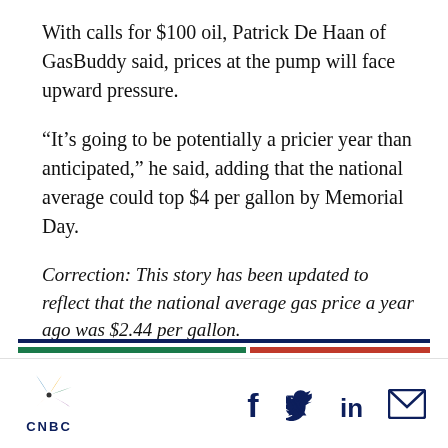With calls for $100 oil, Patrick De Haan of GasBuddy said, prices at the pump will face upward pressure.
“It’s going to be potentially a pricier year than anticipated,” he said, adding that the national average could top $4 per gallon by Memorial Day.
Correction: This story has been updated to reflect that the national average gas price a year ago was $2.44 per gallon.
CNBC logo with social icons: Facebook, Twitter, LinkedIn, Email